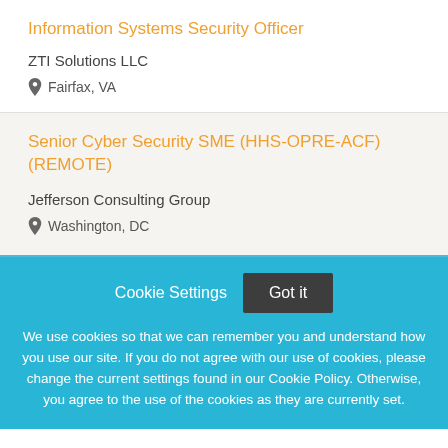Information Systems Security Officer
ZTI Solutions LLC
Fairfax, VA
Senior Cyber Security SME (HHS-OPRE-ACF) (REMOTE)
Jefferson Consulting Group
Washington, DC
Cookie Settings
Got it
We use cookies so that we can remember you and understand how you use our site. If you do not agree with our use of cookies, please change the current settings found in our Cookie Policy. Otherwise, you agree to the use of the cookies as they are currently set.